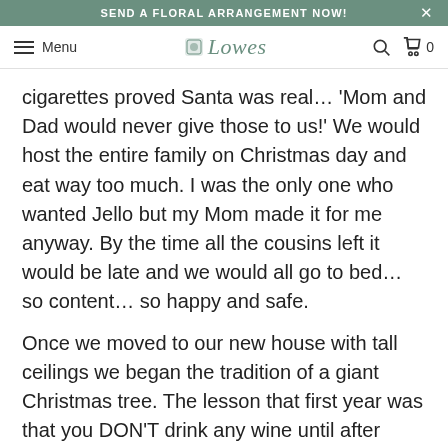SEND A FLORAL ARRANGEMENT NOW!
Menu  Lowe's  [search] [cart] 0
cigarettes proved Santa was real… 'Mom and Dad would never give those to us!'  We would host the entire family on Christmas day and eat way too much.  I was the only one who wanted Jello but my Mom made it for me anyway.  By the time all the cousins left it would be late and we would all go to bed… so content… so happy and safe.
Once we moved to our new house with tall ceilings we began the tradition of a giant Christmas tree.  The lesson that first year was that you DON'T drink any wine until after you've decorated the top of an 18' tree… ladders and wine just don't mix!   Boxes and boxes of ornaments were taken out of storage and the kids watched us decorate the tree… we'd beg for their